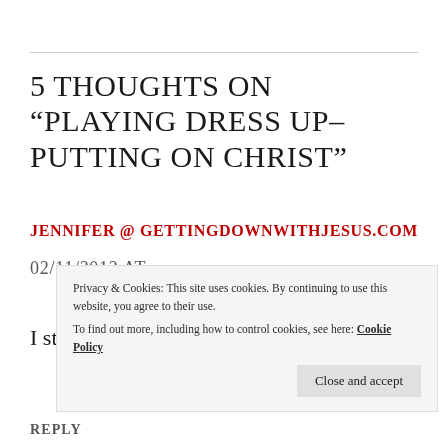5 thoughts on “Playing Dress Up–Putting on Christ”
Jennifer @ gettingdownwithjesus.com
02/11/2012 AT
I still love playing dress-up.    And you?
Privacy & Cookies: This site uses cookies. By continuing to use this website, you agree to their use.
To find out more, including how to control cookies, see here: Cookie Policy
Close and accept
REPLY